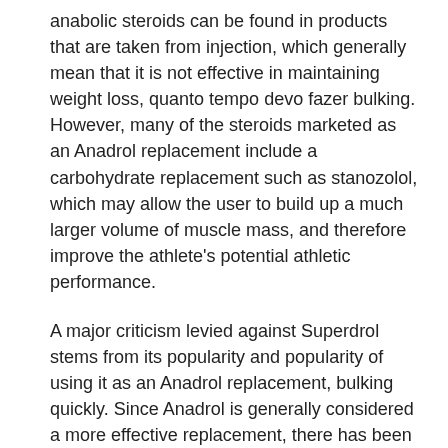anabolic steroids can be found in products that are taken from injection, which generally mean that it is not effective in maintaining weight loss, quanto tempo devo fazer bulking. However, many of the steroids marketed as an Anadrol replacement include a carbohydrate replacement such as stanozolol, which may allow the user to build up a much larger volume of muscle mass, and therefore improve the athlete's potential athletic performance.
A major criticism levied against Superdrol stems from its popularity and popularity of using it as an Anadrol replacement, bulking quickly. Since Anadrol is generally considered a more effective replacement, there has been a significant interest in Superdrol as the Anadrol replacement. The side effects of Prohormone, such as bone loss, an increased risk of cardiovascular disease, and increased cancer of